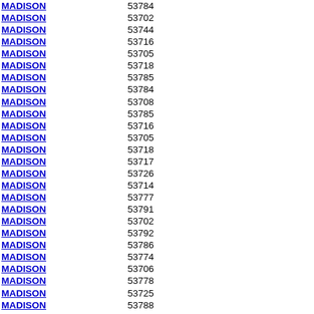MADISON 53784
MADISON 53702
MADISON 53744
MADISON 53716
MADISON 53705
MADISON 53718
MADISON 53785
MADISON 53784
MADISON 53708
MADISON 53785
MADISON 53716
MADISON 53705
MADISON 53718
MADISON 53717
MADISON 53726
MADISON 53714
MADISON 53777
MADISON 53791
MADISON 53702
MADISON 53792
MADISON 53786
MADISON 53774
MADISON 53706
MADISON 53778
MADISON 53725
MADISON 53788
MADISON 53715
MADISON 53790
MADISON 53782
MADISON 53707
MADISON 53784